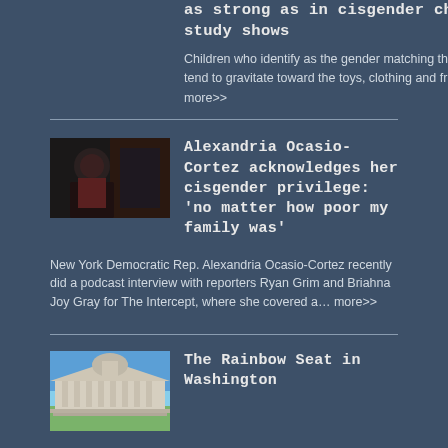as strong as in cisgender children, study shows
Children who identify as the gender matching their sex at birth tend to gravitate toward the toys, clothing and friendships… more>>
[Figure (photo): Thumbnail photo of Alexandria Ocasio-Cortez]
Alexandria Ocasio-Cortez acknowledges her cisgender privilege: 'no matter how poor my family was'
New York Democratic Rep. Alexandria Ocasio-Cortez recently did a podcast interview with reporters Ryan Grim and Briahna Joy Gray for The Intercept, where she covered a… more>>
[Figure (photo): Thumbnail photo showing a government building (Supreme Court or similar)]
The Rainbow Seat in Washington